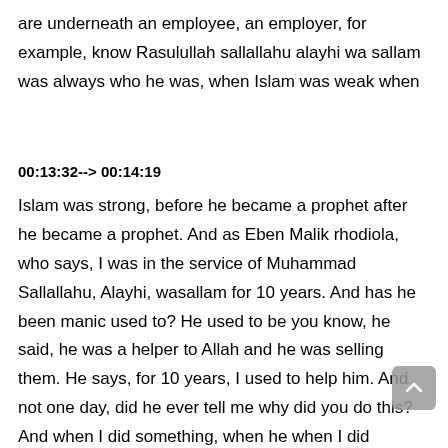are underneath an employee, an employer, for example, know Rasulullah sallallahu alayhi wa sallam was always who he was, when Islam was weak when
00:13:32--> 00:14:19
Islam was strong, before he became a prophet after he became a prophet. And as Eben Malik rhodiola, who says, I was in the service of Muhammad Sallallahu, Alayhi, wasallam for 10 years. And has he been manic used to? He used to be you know, he said, he was a helper to Allah and he was selling them. He says, for 10 years, I used to help him. And not one day, did he ever tell me why did you do this? And when I did something, when he when I did something wrong, and not one day, did he tell me? Why didn't you do this ns when he forgot to do something, so constant, constant. And this is amazing with the